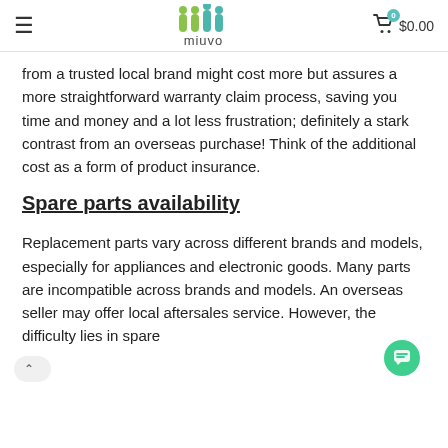miuvo — $0.00
from a trusted local brand might cost more but assures a more straightforward warranty claim process, saving you time and money and a lot less frustration; definitely a stark contrast from an overseas purchase! Think of the additional cost as a form of product insurance.
Spare parts availability
Replacement parts vary across different brands and models, especially for appliances and electronic goods. Many parts are incompatible across brands and models. An overseas seller may offer local after sales service. However, the difficulty lies in spare parts availability for discontinued models.